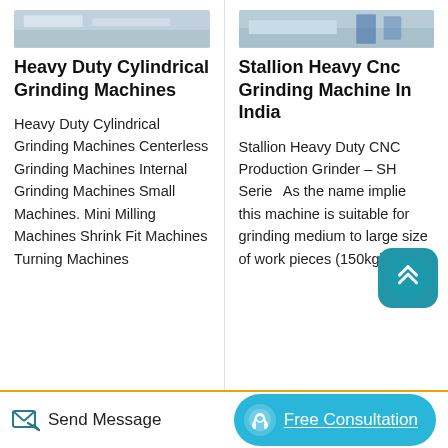[Figure (photo): Top portion of a heavy duty cylindrical grinding machine, industrial factory setting]
Heavy Duty Cylindrical Grinding Machines
Heavy Duty Cylindrical Grinding Machines Centerless Grinding Machines Internal Grinding Machines Small Machines. Mini Milling Machines Shrink Fit Machines Turning Machines
[Figure (photo): Top portion of a Stallion Heavy CNC Grinding Machine in an industrial setting]
Stallion Heavy Cnc Grinding Machine In India
Stallion Heavy Duty CNC Production Grinder – SH Series As the name implies this machine is suitable for grinding medium to large size of work pieces (150kg) in High production environments
Send Message
Free Consultation